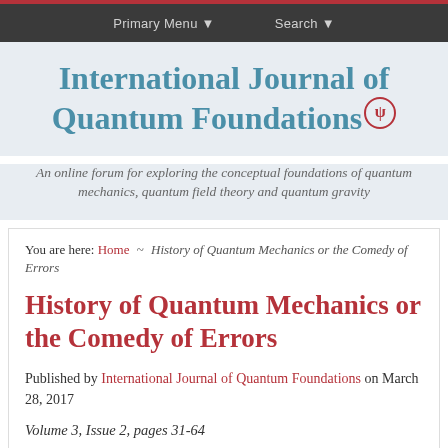Primary Menu ▼   Search ▼
International Journal of Quantum Foundations
An online forum for exploring the conceptual foundations of quantum mechanics, quantum field theory and quantum gravity
You are here: Home ~ History of Quantum Mechanics or the Comedy of Errors
History of Quantum Mechanics or the Comedy of Errors
Published by International Journal of Quantum Foundations on March 28, 2017
Volume 3, Issue 2, pages 31-64